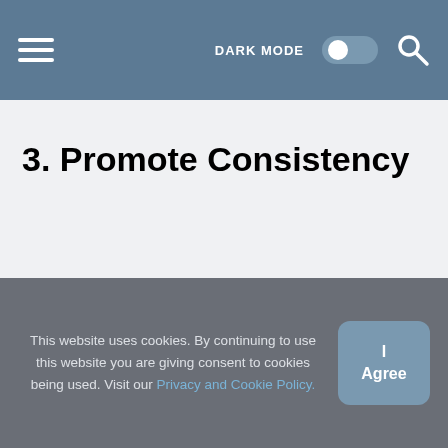DARK MODE [toggle] [search]
3. Promote Consistency
This website uses cookies. By continuing to use this website you are giving consent to cookies being used. Visit our Privacy and Cookie Policy.